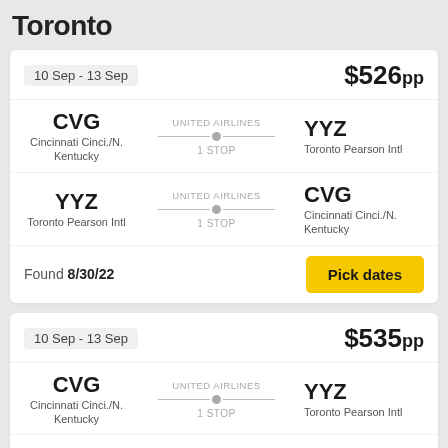Toronto
10 Sep - 13 Sep   $526pp
CVG Cincinnati Cinci./N. Kentucky — UNITED AIRLINES 1 STOP — YYZ Toronto Pearson Intl
YYZ Toronto Pearson Intl — UNITED AIRLINES 1 STOP — CVG Cincinnati Cinci./N. Kentucky
Found 8/30/22
Pick dates
10 Sep - 13 Sep   $535pp
CVG Cincinnati Cinci./N. Kentucky — UNITED AIRLINES 1 STOP — YYZ Toronto Pearson Intl